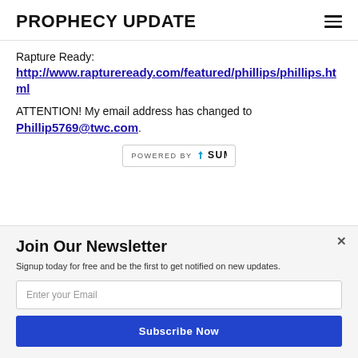PROPHECY UPDATE
Rapture Ready:
http://www.raptureready.com/featured/phillips/phillips.html
ATTENTION! My email address has changed to Phillip5769@twc.com.
[Figure (logo): POWERED BY SUMO badge with crown icon]
Join Our Newsletter
Signup today for free and be the first to get notified on new updates.
Enter your Email
Subscribe Now